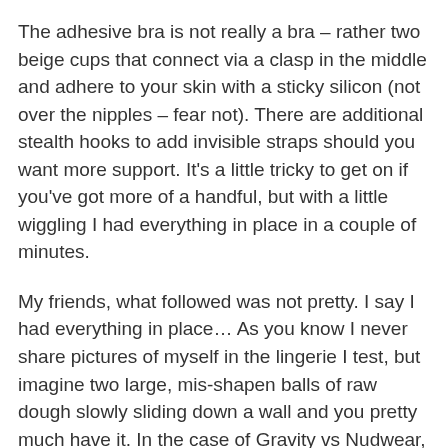The adhesive bra is not really a bra – rather two beige cups that connect via a clasp in the middle and adhere to your skin with a sticky silicon (not over the nipples – fear not). There are additional stealth hooks to add invisible straps should you want more support. It's a little tricky to get on if you've got more of a handful, but with a little wiggling I had everything in place in a couple of minutes.
My friends, what followed was not pretty. I say I had everything in place… As you know I never share pictures of myself in the lingerie I test, but imagine two large, mis-shapen balls of raw dough slowly sliding down a wall and you pretty much have it. In the case of Gravity vs Nudwear, Gravity wins. For my self-esteem, I must now erase the memory of my reflection from my brain.